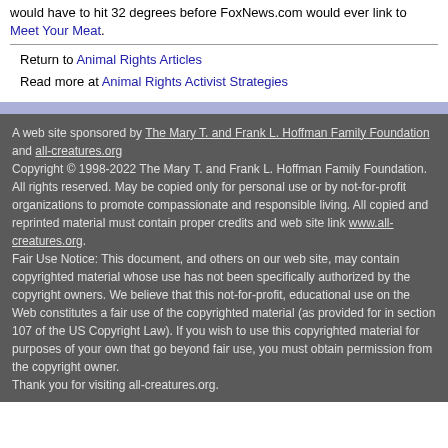would have to hit 32 degrees before FoxNews.com would ever link to Meet Your Meat.
Return to Animal Rights Articles
Read more at Animal Rights Activist Strategies
A web site sponsored by The Mary T. and Frank L. Hoffman Family Foundation and all-creatures.org
Copyright © 1998-2022 The Mary T. and Frank L. Hoffman Family Foundation. All rights reserved. May be copied only for personal use or by not-for-profit organizations to promote compassionate and responsible living. All copied and reprinted material must contain proper credits and web site link www.all-creatures.org.
Fair Use Notice: This document, and others on our web site, may contain copyrighted material whose use has not been specifically authorized by the copyright owners. We believe that this not-for-profit, educational use on the Web constitutes a fair use of the copyrighted material (as provided for in section 107 of the US Copyright Law). If you wish to use this copyrighted material for purposes of your own that go beyond fair use, you must obtain permission from the copyright owner.
Thank you for visiting all-creatures.org.